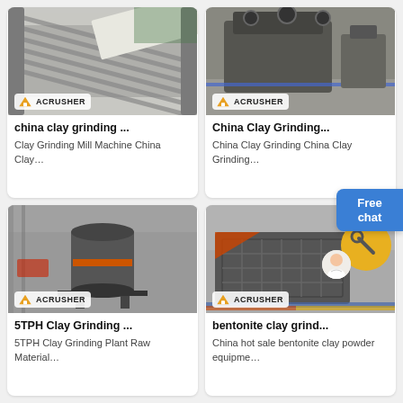[Figure (photo): Industrial vibrating feeder / conveyor machine with parallel steel bars, showing the ACRUSHER brand logo watermark]
china clay grinding ...
Clay Grinding Mill Machine China Clay…
[Figure (photo): Large industrial jaw crusher machine in a factory floor, showing the ACRUSHER brand logo watermark]
China Clay Grinding...
China Clay Grinding China Clay Grinding…
[Figure (photo): 5TPH clay grinding plant with vertical shaft impact crusher in an industrial facility, showing ACRUSHER brand logo]
5TPH Clay Grinding ...
5TPH Clay Grinding Plant Raw Material…
[Figure (photo): Bentonite clay grinding machine / vibrating screen in a large warehouse, with yellow wheel logo on right, showing ACRUSHER brand logo]
bentonite clay grind...
China hot sale bentonite clay powder equipme…